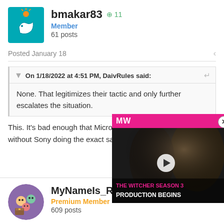bmakar83 +11
Member
61 posts
Posted January 18
On 1/18/2022 at 4:51 PM, DaivRules said:
None. That legitimizes their tactic and only further escalates the situation.
This. It's bad enough that Microsoft is just buying everyone up without Sony doing the exact same t...
[Figure (screenshot): MW (Millennial Watchers) video ad overlay for 'The Witcher Season 3 - Production Begins' with play button and close button]
MyNameIs_Rainman +583
Premium Member
609 posts